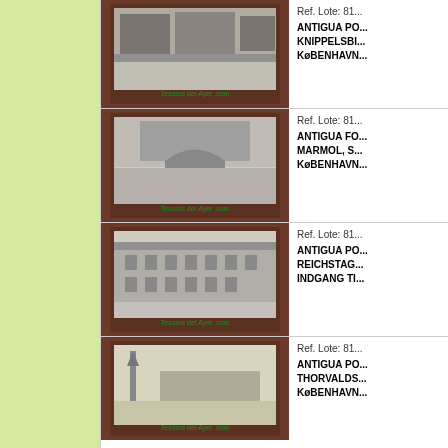[Figure (photo): Antique postcard showing Knippelsbro bridge, Copenhagen (KøBENHAVN)]
Ref. Lote: 81...
ANTIGUA PO... KNIPPELSBI... KøBENHAVN...
[Figure (photo): Antique postcard showing Marmol bridge, Copenhagen (KøBENHAVN)]
Ref. Lote: 81...
ANTIGUA FO... MARMOL, S... KøBENHAVN...
[Figure (photo): Antique postcard showing Reichstag building with Indgang Ti entrance]
Ref. Lote: 81...
ANTIGUA PO... REICHSTAG... INDGANG TI...
[Figure (photo): Antique postcard showing Thorvaldsens Museum, Copenhagen (KøBENHAVN)]
Ref. Lote: 81...
ANTIGUA PO... THORVALDS... KøBENHAVN...